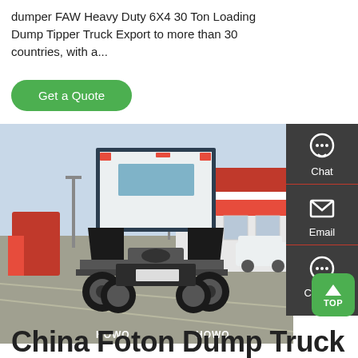dumper FAW Heavy Duty 6X4 30 Ton Loading Dump Tipper Truck Export to more than 30 countries, with a...
[Figure (other): Green 'Get a Quote' rounded button]
[Figure (photo): Rear view of a HOWO heavy duty truck (tractor unit) in a dealership parking lot with red and white commercial buildings in the background.]
China Foton Dump Truck